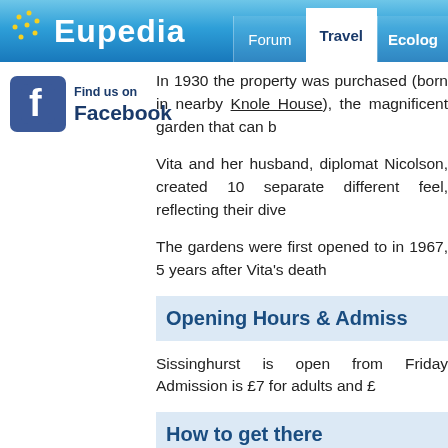Eupedia | Forum | Travel | Ecolog
[Figure (logo): Find us on Facebook widget with Facebook icon]
In 1930 the property was purchased (born in nearby Knole House), the magnificent garden that can
Vita and her husband, diplomat Nicolson, created 10 separate different feel, reflecting their dive
The gardens were first opened to in 1967, 5 years after Vita's death
Opening Hours & Admiss
Sissinghurst is open from Friday Admission is £7 for adults and £
How to get there
Sissinghurst is located about 9